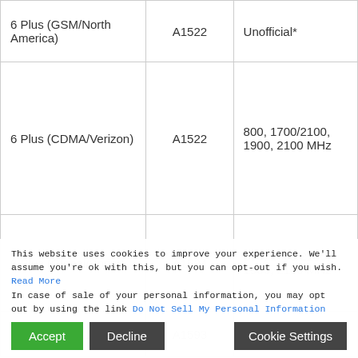| Model | Model Identifier | LTE Bands |
| --- | --- | --- |
| 6 Plus (GSM/North America) | A1522 | Unofficial* |
| 6 Plus (CDMA/Verizon) | A1522 | 800, 1700/2100, 1900, 2100 MHz |
| 6 Plus (Global/Sprint) | A1524 | 800, 1700/2100, 1900, 2100 MHz |
| 6 Plus (China ...) | A1593 | None |
This website uses cookies to improve your experience. We'll assume you're ok with this, but you can opt-out if you wish. Read More
In case of sale of your personal information, you may opt out by using the link Do Not Sell My Personal Information